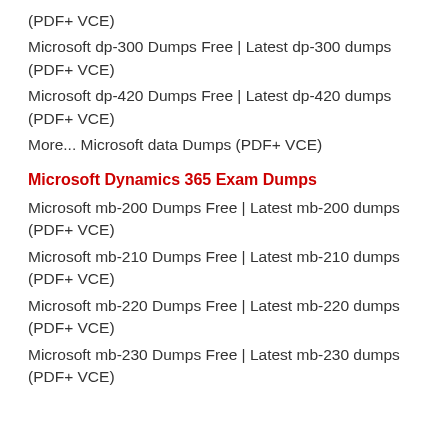(PDF+ VCE)
Microsoft dp-300 Dumps Free | Latest dp-300 dumps (PDF+ VCE)
Microsoft dp-420 Dumps Free | Latest dp-420 dumps (PDF+ VCE)
More... Microsoft data Dumps (PDF+ VCE)
Microsoft Dynamics 365 Exam Dumps
Microsoft mb-200 Dumps Free | Latest mb-200 dumps (PDF+ VCE)
Microsoft mb-210 Dumps Free | Latest mb-210 dumps (PDF+ VCE)
Microsoft mb-220 Dumps Free | Latest mb-220 dumps (PDF+ VCE)
Microsoft mb-230 Dumps Free | Latest mb-230 dumps (PDF+ VCE)